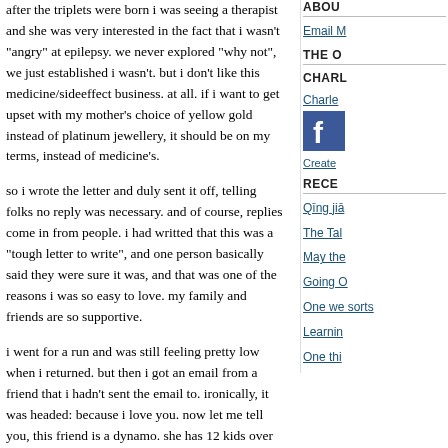after the triplets were born i was seeing a therapist and she was very interested in the fact that i wasn't "angry" at epilepsy. we never explored "why not", we just established i wasn't. but i don't like this medicine/sideeffect business. at all. if i want to get upset with my mother's choice of yellow gold instead of platinum jewellery, it should be on my terms, instead of medicine's.
so i wrote the letter and duly sent it off, telling folks no reply was necessary. and of course, replies come in from people. i had writted that this was a "tough letter to write", and one person basically said they were sure it was, and that was one of the reasons i was so easy to love. my family and friends are so supportive.
i went for a run and was still feeling pretty low when i returned. but then i got an email from a friend that i hadn't sent the email to. ironically, it was headed: because i love you. now let me tell you, this friend is a dynamo. she has 12 kids over to her flat and doesn't sweat it, has dinner parties for 12 and doesn't get a drop on her white outfit, is always accessorised, can wear a time consuming hairstyle with pieces that drape elegantly across the forehead and they stay in place, you know the type. i opened the email, and there was only a link.
ABOU
Email M
THE O
CHARL
Charle
[Figure (logo): Facebook logo blue square with white F]
Create
RECE
Qīng jiā
The Tal
May the
Going O
One we sorts
Learnin
One thi